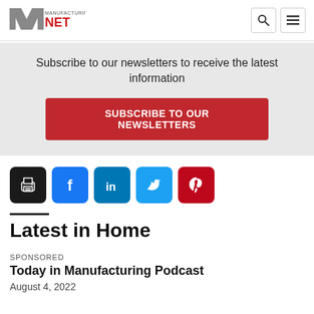Manufacturing.net — header with logo, search, and menu icons
Subscribe to our newsletters to receive the latest information
SUBSCRIBE TO OUR NEWSLETTERS
[Figure (other): Social share icons row: print (black), Facebook (blue), LinkedIn (teal-blue), Twitter (light blue), Pinterest (red)]
Latest in Home
SPONSORED
Today in Manufacturing Podcast
August 4, 2022